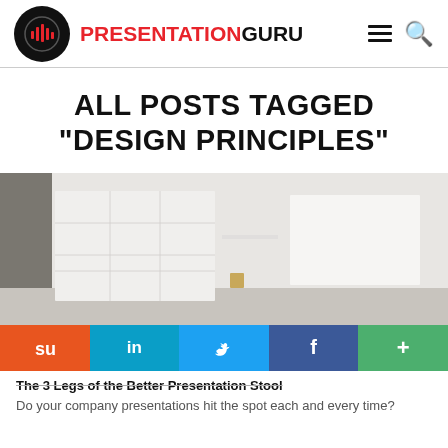PRESENTATION GURU
ALL POSTS TAGGED "DESIGN PRINCIPLES"
[Figure (photo): Interior room with white walls, white grid-patterned panels and blank white canvas on wall, minimalist design space]
[Figure (infographic): Social sharing bar with five buttons: Stumbleupon (orange), LinkedIn (teal), Twitter (light blue), Facebook (dark blue), More/Plus (green)]
The 3 Legs of the Better Presentation Stool
Do your company presentations hit the spot each and every time?